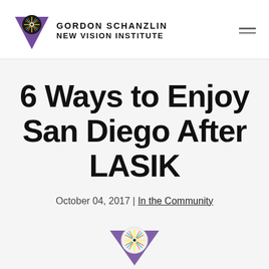GORDON SCHANZLIN NEW VISION INSTITUTE
6 Ways to Enjoy San Diego After LASIK
October 04, 2017 | In the Community
[Figure (logo): Gordon Schanzlin New Vision Institute logo — partial, cropped at bottom of page]